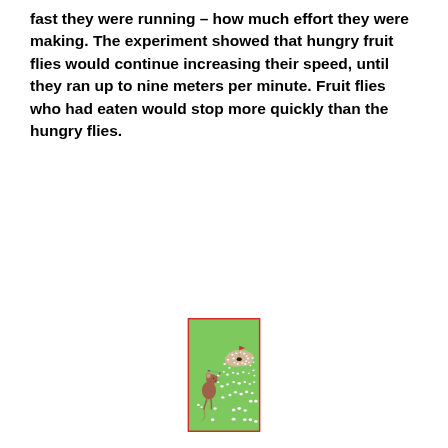fast they were running – how much effort they were making. The experiment showed that hungry fruit flies would continue increasing their speed, until they ran up to nine meters per minute. Fruit flies who had eaten would stop more quickly than the hungry flies.
[Figure (illustration): A cartoon illustration of a mouse playing golf on a green field. The mouse is on the left, mid-swing with a golf club. In the center and right area, many small oval/circle shapes (golf balls) are scattered across the green grass, trailing toward a sandy golf hole with a red flag on the right side.]